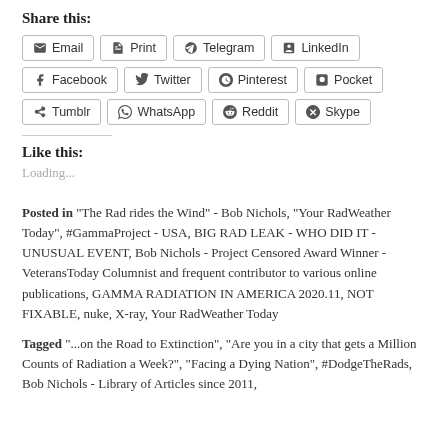Share this:
Email  Print  Telegram  LinkedIn  Facebook  Twitter  Pinterest  Pocket  Tumblr  WhatsApp  Reddit  Skype
Like this:
Loading...
Posted in "The Rad rides the Wind" - Bob Nichols, "Your RadWeather Today", #GammaProject - USA, BIG RAD LEAK - WHO DID IT - UNUSUAL EVENT, Bob Nichols - Project Censored Award Winner - VeteransToday Columnist and frequent contributor to various online publications, GAMMA RADIATION IN AMERICA 2020.11, NOT FIXABLE, nuke, X-ray, Your RadWeather Today
Tagged "...on the Road to Extinction", "Are you in a city that gets a Million Counts of Radiation a Week?", "Facing a Dying Nation", #DodgeTheRads, Bob Nichols - Library of Articles since 2011,